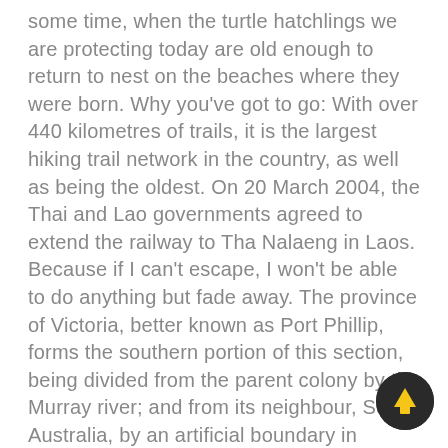some time, when the turtle hatchlings we are protecting today are old enough to return to nest on the beaches where they were born. Why you've got to go: With over 440 kilometres of trails, it is the largest hiking trail network in the country, as well as being the oldest. On 20 March 2004, the Thai and Lao governments agreed to extend the railway to Tha Nalaeng in Laos. Because if I can't escape, I won't be able to do anything but fade away. The province of Victoria, better known as Port Phillip, forms the southern portion of this section, being divided from the parent colony by the Murray river; and from its neighbour, South Australia, by an artificial boundary in longitude 141° east, with its sea-coast facing the south, including in its extent the northern shore of Bass's Strait. What to do: Gaze at red pandas, cougars, white Bengal tigers, snow leopards and African lions. In: Remote Sensing 5, pp. However, Khong is an archaic word meaning "river", loaned from Austroasiatic languages, such as Vietnamese
[Figure (other): A circular dark button with an upward arrow icon (scroll-to-top button)]